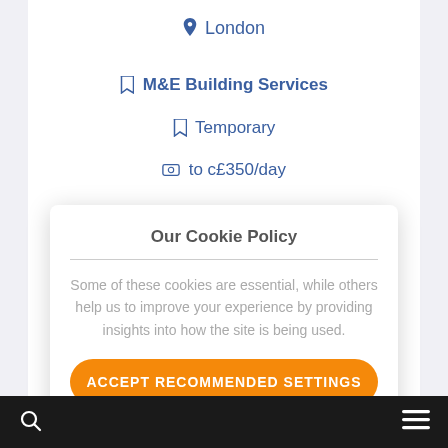📍 London
🔖 M&E Building Services
🔖 Temporary
💰 to c£350/day
Our client a busy Central London based mechanical
Our Cookie Policy
Some of these cookies are essential, while others help us to improve your experience by providing insights into how the site is being used.
ACCEPT RECOMMENDED SETTINGS
LEARN MORE